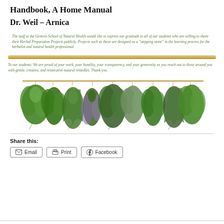Handbook, A Home Manual
Dr. Weil – Arnica
The staff at the Genesis School of Natural Health would like to express our gratitude to all of our students who are willing to share their Herbal Preparation Projects publicly.  Projects such as these are designed as a "stepping stone" in the learning process for the herbalist and natural health professional.
To our students:  We are proud of your work, your humility, your transparency, and your generosity as you reach out to those around you with gentle, creative, and restorative natural remedies.  Thank you.
[Figure (photo): Multiple bunches of fresh green herbs hanging upside down from a horizontal bamboo rod against a white background, including basil, thyme, lavender, sage, and other aromatic plants.]
Share this:
Email
Print
Facebook